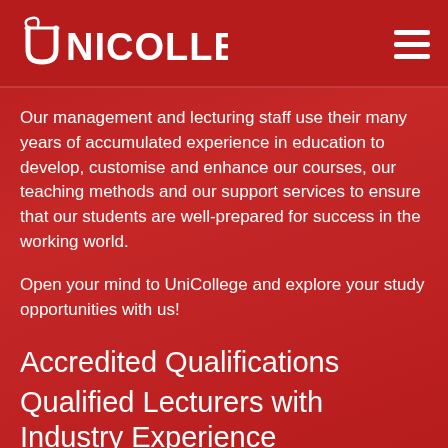[Figure (logo): UniCollege logo in white on dark red header bar, with hamburger menu icon on the right]
Our management and lecturing staff use their many years of accumulated experience in education to develop, customise and enhance our courses, our teaching methods and our support services to ensure that our students are well-prepared for success in the working world.
Open your mind to UniCollege and explore your study opportunities with us!
Accredited Qualifications
Qualified Lecturers with Industry Experience
Affordable Payment Plans